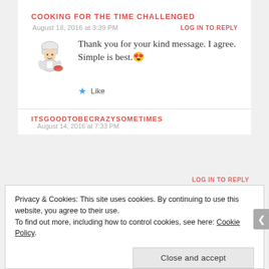COOKING FOR THE TIME CHALLENGED
August 18, 2016 at 3:39 PM
LOG IN TO REPLY
Thank you for your kind message. I agree. Simple is best. 😍
Like
ITSGOODTOBECRAZYSOMETIMES   August 14, 2016 at 7:33 PM
LOG IN TO REPLY
Privacy & Cookies: This site uses cookies. By continuing to use this website, you agree to their use. To find out more, including how to control cookies, see here: Cookie Policy
Close and accept